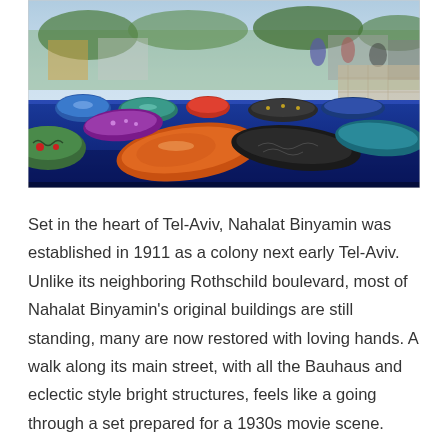[Figure (photo): Outdoor market scene showing colorful ceramic bowls and plates displayed on a blue table at the Nahalat Binyamin market in Tel-Aviv. Various shaped and decorated pottery pieces are visible in the foreground, with market stalls and people in the background.]
Set in the heart of Tel-Aviv, Nahalat Binyamin was established in 1911 as a colony next early Tel-Aviv. Unlike its neighboring Rothschild boulevard, most of Nahalat Binyamin's original buildings are still standing, many are now restored with loving hands. A walk along its main street, with all the Bauhaus and eclectic style bright structures, feels like a going through a set prepared for a 1930s movie scene.